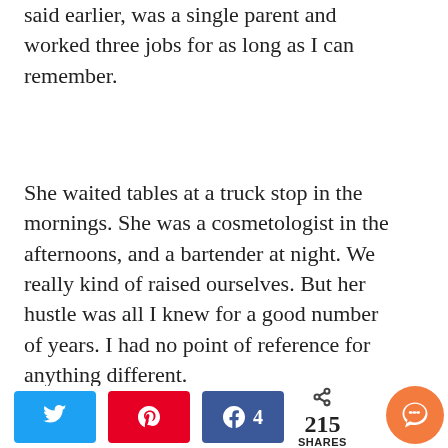said earlier, was a single parent and worked three jobs for as long as I can remember.
She waited tables at a truck stop in the mornings. She was a cosmetologist in the afternoons, and a bartender at night. We really kind of raised ourselves. But her hustle was all I knew for a good number of years. I had no point of reference for anything different.
As I said, I had never met a
[Figure (other): Gray scroll-to-top button with up arrow on right side of page]
[Figure (other): Social share bar at bottom with Twitter, Pinterest, Facebook (4), share count 215 SHARES, and orange chat bubble icon]